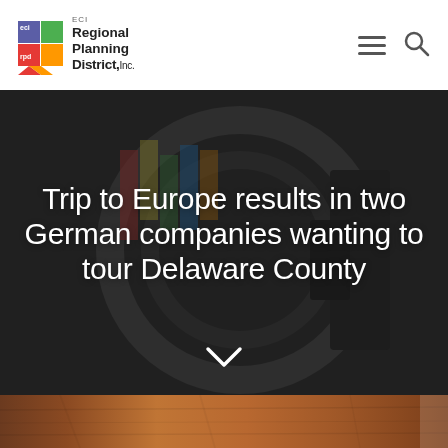ECI Regional Planning District, Inc.
[Figure (screenshot): Hero image with dark overlay showing an artistic circular structure with colorful flags/artwork in the background. Large white text overlaid reads: Trip to Europe results in two German companies wanting to tour Delaware County. A white chevron/down arrow appears below the text.]
[Figure (photo): Partial bottom strip showing a wooden table or furniture surface in warm brown tones.]